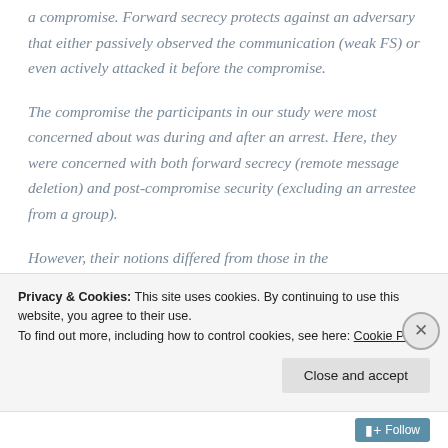a compromise. Forward secrecy protects against an adversary that either passively observed the communication (weak FS) or even actively attacked it before the compromise.
The compromise the participants in our study were most concerned about was during and after an arrest. Here, they were concerned with both forward secrecy (remote message deletion) and post-compromise security (excluding an arrestee from a group).
However, their notions differed from those in the
Privacy & Cookies: This site uses cookies. By continuing to use this website, you agree to their use.
To find out more, including how to control cookies, see here: Cookie Policy
Close and accept